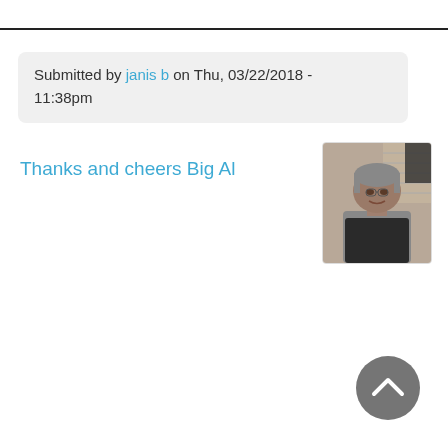Submitted by janis b on Thu, 03/22/2018 - 11:38pm
Thanks and cheers Big Al
[Figure (photo): Profile photo of a person with short grey hair, wearing a dark top, standing indoors]
[Figure (other): Circular grey scroll-to-top button with an upward chevron arrow]